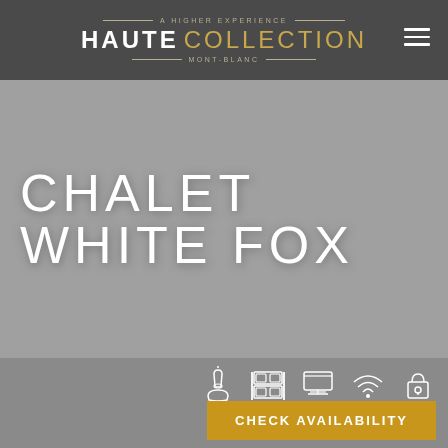A HIGHER EXPERIENCE — HAUTE COLLECTION — MONT-BLANC
CHALET WHITE FOX
[Figure (infographic): Row of five white line icons: spa/candle, bunk beds/storage, television/screen, wifi signal, padlock/security]
CHECK AVAILABILITY